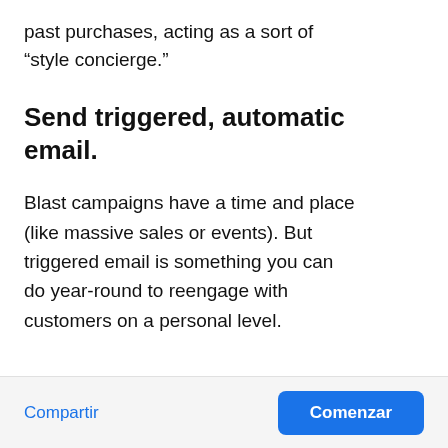past purchases, acting as a sort of “style concierge.”
Send triggered, automatic email.
Blast campaigns have a time and place (like massive sales or events). But triggered email is something you can do year-round to reengage with customers on a personal level.
Compartir | Comenzar